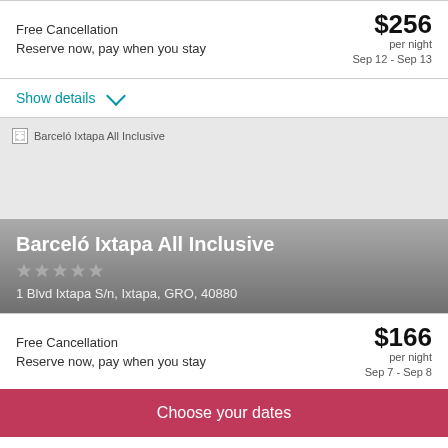Free Cancellation
Reserve now, pay when you stay
$256 per night Sep 12 - Sep 13
Show details
[Figure (photo): Hotel image placeholder for Barceló Ixtapa All Inclusive]
Barceló Ixtapa All Inclusive
1 Blvd Ixtapa S/n, Ixtapa, GRO, 40880
Free Cancellation
Reserve now, pay when you stay
$166 per night Sep 7 - Sep 8
Choose your dates